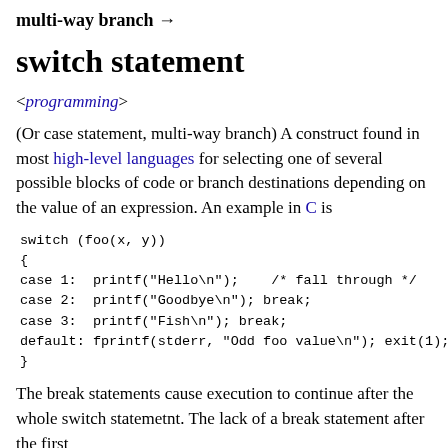multi-way branch →
switch statement
<programming>
(Or case statement, multi-way branch) A construct found in most high-level languages for selecting one of several possible blocks of code or branch destinations depending on the value of an expression. An example in C is
switch (foo(x, y))
{
case 1:  printf("Hello\n");    /* fall through */
case 2:  printf("Goodbye\n"); break;
case 3:  printf("Fish\n"); break;
default: fprintf(stderr, "Odd foo value\n"); exit(1);
}
The break statements cause execution to continue after the whole switch statemetnt. The lack of a break statement after the first